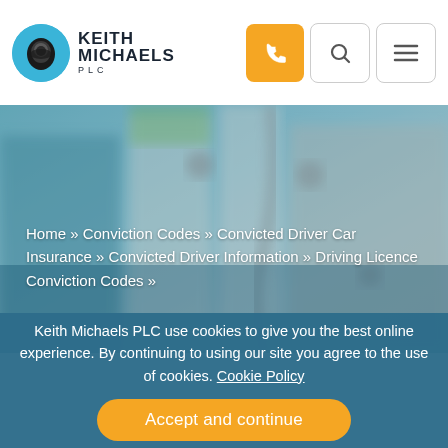Keith Michaels PLC — navigation header with phone, search, and menu icons
[Figure (photo): Blurred close-up photograph of vehicle or mechanical equipment, serving as hero banner background]
Home » Conviction Codes » Convicted Driver Car Insurance » Convicted Driver Information » Driving Licence Conviction Codes »
CD10 Car Insurance
Keith Michaels PLC use cookies to give you the best online experience. By continuing to using our site you agree to the use of cookies. Cookie Policy
Accept and continue